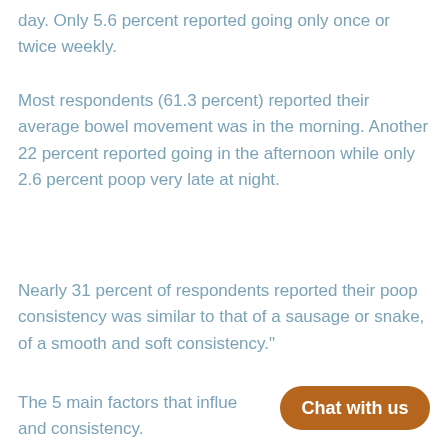day. Only 5.6 percent reported going only once or twice weekly.
Most respondents (61.3 percent) reported their average bowel movement was in the morning. Another 22 percent reported going in the afternoon while only 2.6 percent poop very late at night.
Nearly 31 percent of respondents reported their poop consistency was similar to that of a sausage or snake, of a smooth and soft consistency."
The 5 main factors that influe and consistency.